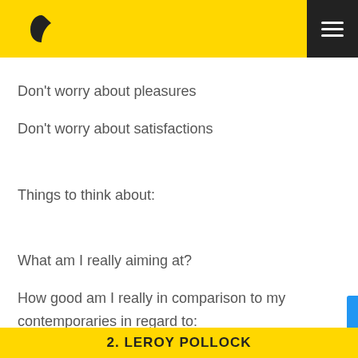Don't worry about pleasures
Don't worry about satisfactions
Things to think about:
What am I really aiming at?
How good am I really in comparison to my contemporaries in regard to:
(a) Scholarship
(b) Do I really understand about people and am I able to get along with them?
(c) Am I trying to make my body a useful instrument or am I neglecting it?
2. LEROY POLLOCK